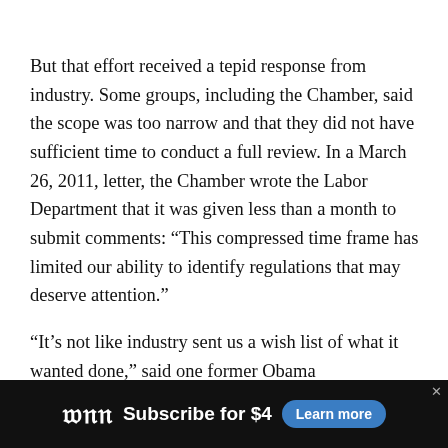But that effort received a tepid response from industry. Some groups, including the Chamber, said the scope was too narrow and that they did not have sufficient time to conduct a full review. In a March 26, 2011, letter, the Chamber wrote the Labor Department that it was given less than a month to submit comments: “This compressed time frame has limited our ability to identify regulations that may deserve attention.”
“It’s not like industry sent us a wish list of what it wanted done,” said one former Obama administration official, who spoke on the condition of anonymity to talk frankly.
[At EPA, Trump signs order to unwind Obama’s
[Figure (other): Washington Post advertisement banner: WP logo, 'Subscribe for $4', and 'Learn more' button on dark background]